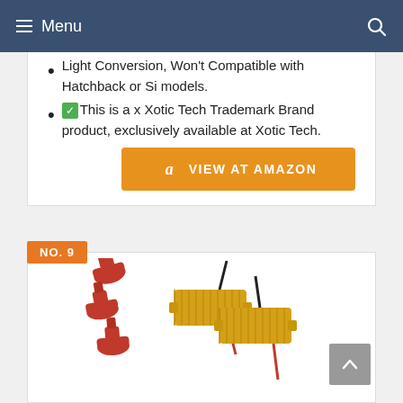Menu
Light Conversion, Won't Compatible with Hatchback or Si models.
✅This is a x Xotic Tech Trademark Brand product, exclusively available at Xotic Tech.
VIEW AT AMAZON
NO. 9
[Figure (photo): Two gold-colored cylindrical resistors/load resistors with black and red wires, accompanied by red wire connectors/clips, on a white background.]